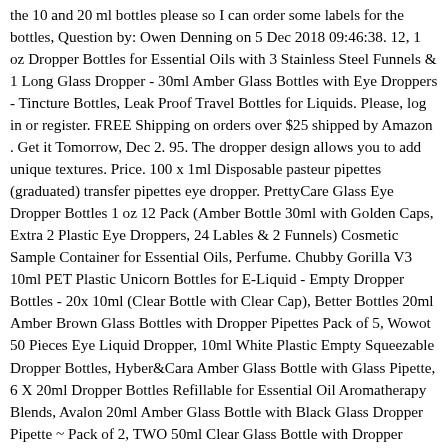the 10 and 20 ml bottles please so I can order some labels for the bottles, Question by: Owen Denning on 5 Dec 2018 09:46:38. 12, 1 oz Dropper Bottles for Essential Oils with 3 Stainless Steel Funnels & 1 Long Glass Dropper - 30ml Amber Glass Bottles with Eye Droppers - Tincture Bottles, Leak Proof Travel Bottles for Liquids. Please, log in or register. FREE Shipping on orders over $25 shipped by Amazon . Get it Tomorrow, Dec 2. 95. The dropper design allows you to add unique textures. Price. 100 x 1ml Disposable pasteur pipettes (graduated) transfer pipettes eye dropper. PrettyCare Glass Eye Dropper Bottles 1 oz 12 Pack (Amber Bottle 30ml with Golden Caps, Extra 2 Plastic Eye Droppers, 24 Lables & 2 Funnels) Cosmetic Sample Container for Essential Oils, Perfume. Chubby Gorilla V3 10ml PET Plastic Unicorn Bottles for E-Liquid - Empty Dropper Bottles - 20x 10ml (Clear Bottle with Clear Cap), Better Bottles 20ml Amber Brown Glass Bottles with Dropper Pipettes Pack of 5, Wowot 50 Pieces Eye Liquid Dropper, 10ml White Plastic Empty Squeezable Dropper Bottles, Hyber&Cara Amber Glass Bottle with Glass Pipette, 6 X 20ml Dropper Bottles Refillable for Essential Oil Aromatherapy Blends, Avalon 20ml Amber Glass Bottle with Black Glass Dropper Pipette ~ Pack of 2, TWO 50ml Clear Glass Bottle with Dropper Pipette, Five 20ml Amber Brown Glass Bottles with Dropper Pipettes, 20pcs 3ml Graduated Transparent Plastic Transfer Pipette Dropper for Transfering Essential Oils Perfume Mixing Acrylic Paints and Lab, Aura 10ml Blue Glass Dropper with Glass Pipette, Pack of 5, TikIZ Matching Dropper